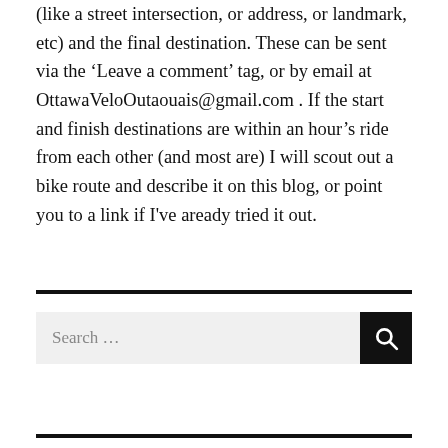(like a street intersection, or address, or landmark, etc) and the final destination. These can be sent via the ‘Leave a comment’ tag, or by email at OttawaVeloOutaouais@gmail.com . If the start and finish destinations are within an hour’s ride from each other (and most are) I will scout out a bike route and describe it on this blog, or point you to a link if I’ve aready tried it out.